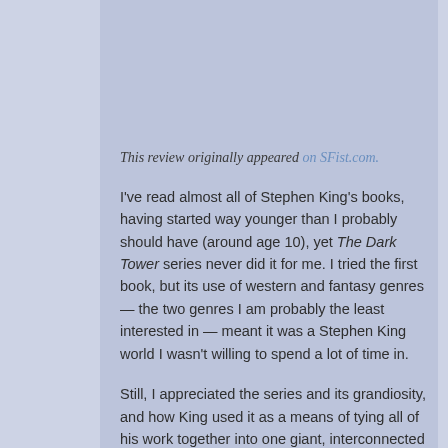This review originally appeared on SFist.com.
I've read almost all of Stephen King's books, having started way younger than I probably should have (around age 10), yet The Dark Tower series never did it for me. I tried the first book, but its use of western and fantasy genres — the two genres I am probably the least interested in — meant it was a Stephen King world I wasn't willing to spend a lot of time in.
Still, I appreciated the series and its grandiosity, and how King used it as a means of tying all of his work together into one giant, interconnected universe, with the (literal) Dark Tower at its center. But after years of trying to bring it to the screen, with luminaries like J. J. Abrams and Ron Howard taking a stab at it (Howard remains as